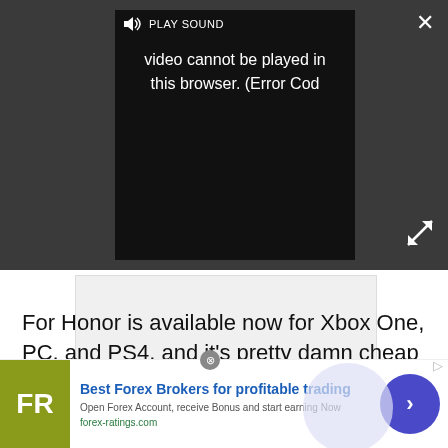[Figure (screenshot): Video player showing error message: 'Video cannot be played in this browser. (Error Cod' with PLAY SOUND control, close button (X), and expand button. Dark gray background overlay.]
For Honor is available now for Xbox One, PC, and PS4, and it's pretty damn cheap if you pick it up from Amazon.
[Figure (screenshot): Advertisement banner for forex-ratings.com: 'Best Forex Brokers for profitable trading'. FR logo in olive/yellow-green, blue circle arrow button, close circle button.]